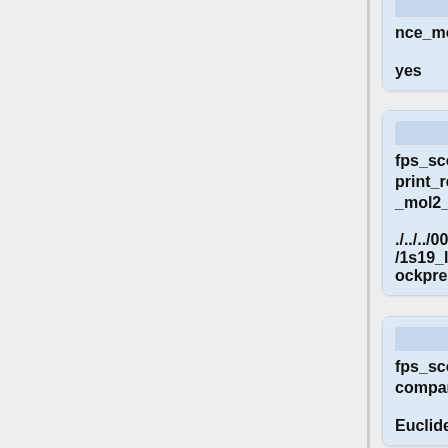[Figure (flowchart): Flowchart nodes showing software configuration parameters. Top node shows 'nce_mol2' with value 'yes'. Second node shows 'fps_score_footprint_reference_mol2_filename' with value '../../001.structure/1s19_ligand_dockprep.mol2'. Third node shows 'fps_score_foot_compare_type' with value 'Euclidean'. Fourth node shows 'fps_score_normalize_foot' with value 'no'. Nodes are connected by '+' symbols on the left.]